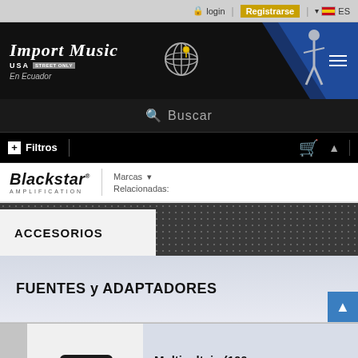login | Registrarse | ES
[Figure (logo): Import Music USA En Ecuador logo with globe icon and guitarist silhouette]
Buscar
+ Filtros
[Figure (logo): Blackstar Amplification logo]
Marcas Relacionadas:
ACCESORIOS
FUENTES y ADAPTADORES
Multivoltaje (100 a 240V)